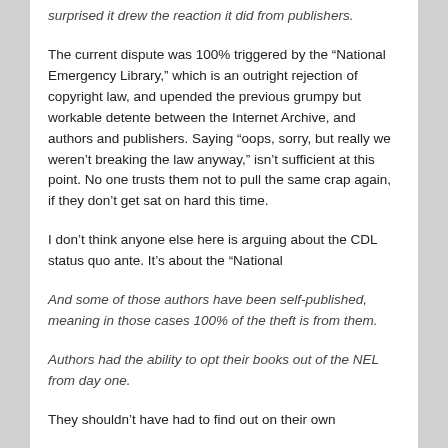surprised it drew the reaction it did from publishers.
The current dispute was 100% triggered by the “National Emergency Library,” which is an outright rejection of copyright law, and upended the previous grumpy but workable detente between the Internet Archive, and authors and publishers. Saying “oops, sorry, but really we weren’t breaking the law anyway,” isn’t sufficient at this point. No one trusts them not to pull the same crap again, if they don’t get sat on hard this time.
I don’t think anyone else here is arguing about the CDL status quo ante. It’s about the “National
And some of those authors have been self-published, meaning in those cases 100% of the theft is from them.
Authors had the ability to opt their books out of the NEL from day one.
They shouldn’t have had to find out on their own